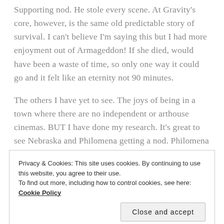Supporting nod. He stole every scene. At Gravity's core, however, is the same old predictable story of survival. I can't believe I'm saying this but I had more enjoyment out of Armageddon! If she died, would have been a waste of time, so only one way it could go and it felt like an eternity not 90 minutes.
The others I have yet to see. The joys of being in a town where there are no independent or arthouse cinemas. BUT I have done my research. It's great to see Nebraska and Philomena getting a nod. Philomena is a fantastic film, if unexpected nomination. However, these are
Privacy & Cookies: This site uses cookies. By continuing to use this website, you agree to their use.
To find out more, including how to control cookies, see here: Cookie Policy
on this picture, while American Hustle and Gravity have